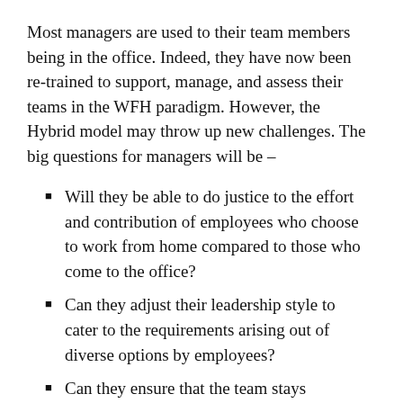Most managers are used to their team members being in the office. Indeed, they have now been re-trained to support, manage, and assess their teams in the WFH paradigm. However, the Hybrid model may throw up new challenges. The big questions for managers will be –
Will they be able to do justice to the effort and contribution of employees who choose to work from home compared to those who come to the office?
Can they adjust their leadership style to cater to the requirements arising out of diverse options by employees?
Can they ensure that the team stays connected and cohesive?
How will they resolve the interpersonal conflicts between those who may experience FOMO and those who want special